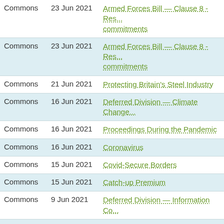| Chamber | Date | Title |
| --- | --- | --- |
| Commons | 23 Jun 2021 | Armed Forces Bill — Clause 8 - Res... commitments |
| Commons | 23 Jun 2021 | Armed Forces Bill — Clause 8 - Res... commitments |
| Commons | 21 Jun 2021 | Protecting Britain's Steel Industry |
| Commons | 16 Jun 2021 | Deferred Division — Climate Change... |
| Commons | 16 Jun 2021 | Proceedings During the Pandemic |
| Commons | 16 Jun 2021 | Coronavirus |
| Commons | 15 Jun 2021 | Covid-Secure Borders |
| Commons | 15 Jun 2021 | Catch-up Premium |
| Commons | 9 Jun 2021 | Deferred Division — Information Co... |
| Commons | 7 Jun 2021 | Advanced Research and Invention A... Information |
| Commons | 7 Jun 2021 | Advanced Research and Invention A... Human Rights Abuses |
| Commons | 7 Jun 2021 | Advanced Research and Invention A... Human Rights Abuses |
| Commons | 26 May 2021 | Environment Bill — New Clause 24 - upland areas |
| Commons | 26 May 2021 | Environment Bill — New Clause 12 fracturing: cessation of issue ent... |